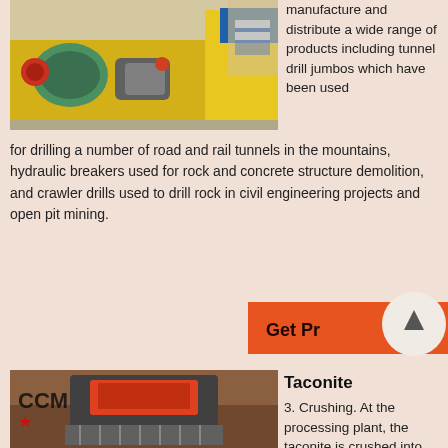[Figure (photo): Yellow industrial drilling/crushing machine with green motor components, photographed outdoors. A person in a plaid shirt is visible in the background on the right.]
manufacture and distribute a wide range of products including tunnel drill jumbos which have been used for drilling a number of road and rail tunnels in the mountains, hydraulic breakers used for rock and concrete structure demolition, and crawler drills used to drill rock in civil engineering projects and open pit mining.
[Figure (other): Orange button showing 'Get Pr' (Get Price, partially obscured) with a circular arrow/up icon beside it.]
[Figure (photo): CCM-branded crushing machine in an excavation/construction site. The machine has an orange/red hopper and a metal grate, photographed in a dirt pit.]
Taconite
3. Crushing. At the processing plant, the taconite is crushed into very small pieces by